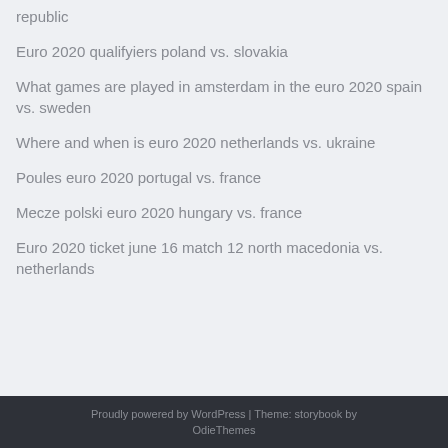republic
Euro 2020 qualifyiers poland vs. slovakia
What games are played in amsterdam in the euro 2020 spain vs. sweden
Where and when is euro 2020 netherlands vs. ukraine
Poules euro 2020 portugal vs. france
Mecze polski euro 2020 hungary vs. france
Euro 2020 ticket june 16 match 12 north macedonia vs. netherlands
Proudly powered by WordPress | Theme: storybook by OdieThemes